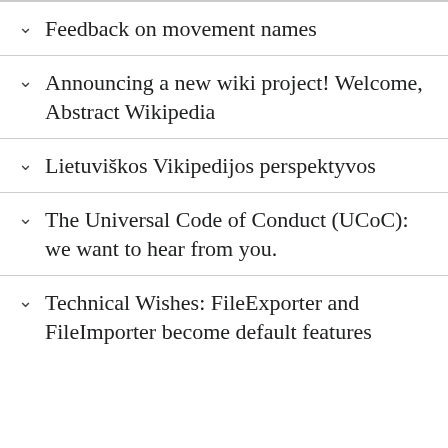Feedback on movement names
Announcing a new wiki project! Welcome, Abstract Wikipedia
Lietuviškos Vikipedijos perspektyvos
The Universal Code of Conduct (UCoC): we want to hear from you.
Technical Wishes: FileExporter and FileImporter become default features